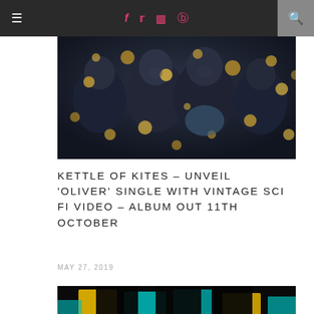≡  f  t  ☷  ⊕  🔍
[Figure (photo): Band photo of Kettle of Kites — four men facing camera with bokeh golden light spots]
KETTLE OF KITES – UNVEIL 'OLIVER' SINGLE WITH VINTAGE SCI FI VIDEO – ALBUM OUT 11TH OCTOBER
MAY 27, 2019
[Figure (photo): Dark silhouetted figures against colorful teal and yellow lit background]